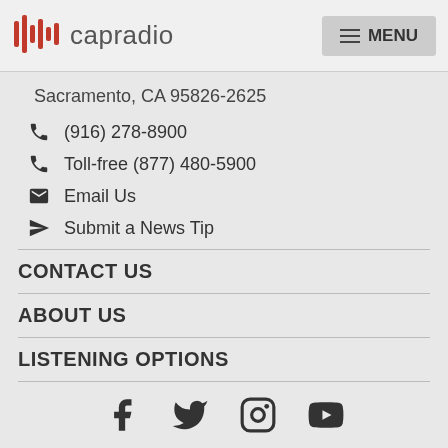capradio  MENU
Sacramento, CA 95826-2625
(916) 278-8900
Toll-free (877) 480-5900
Email Us
Submit a News Tip
CONTACT US
ABOUT US
LISTENING OPTIONS
[Figure (infographic): Social media icons row: Facebook, Twitter, Instagram, YouTube]